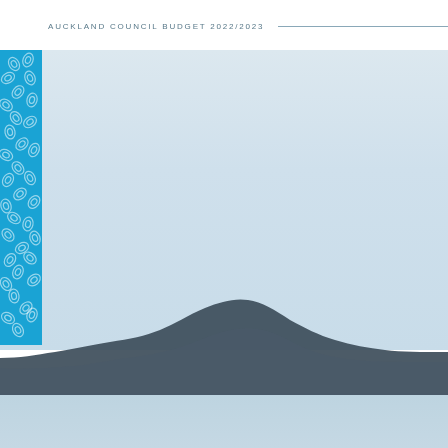AUCKLAND COUNCIL BUDGET 2022/2023
[Figure (photo): Scenic landscape photograph showing a dark volcanic island or mountain silhouette over calm water, with a pale blue-grey overcast sky. A vertical blue decorative bar with white koru/spiral pattern is overlaid on the left side of the image.]